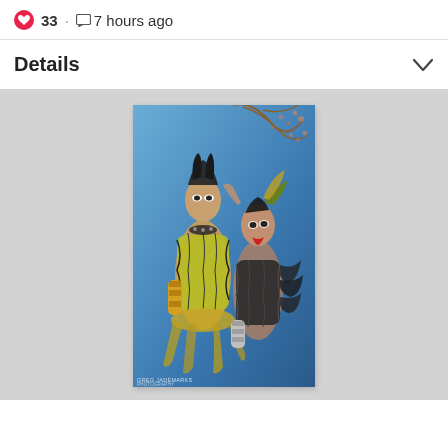33 · 7 hours ago
Details
[Figure (photo): Two performers in elaborate dark and yellow/green feathered costumes posing against a blue backdrop with cherry blossom branches. One wears a yellow-green corset with feathers and a gold arm piece; the other wears a black feathered outfit with red lips. Watermark reads 'GREG JADEMARKS PHOTOGRAPHY' at bottom left.]